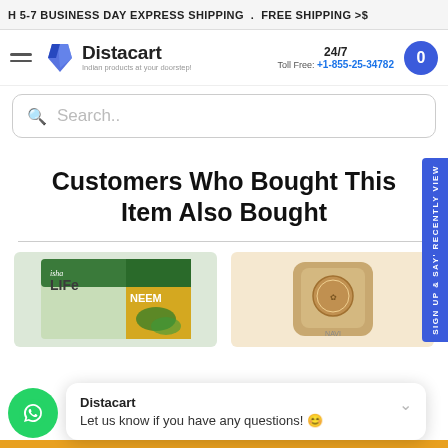H 5-7 BUSINESS DAY EXPRESS SHIPPING . FREE SHIPPING >$
Distacart - Indian products at your doorstep! | 24/7 Toll Free: +1-855-25-34782
Search..
Customers Who Bought This Item Also Bought
[Figure (photo): Product image left - Isha Life Neem product box]
[Figure (photo): Product image right - cream/gold pouch product]
Distacart
Let us know if you have any questions! 😊